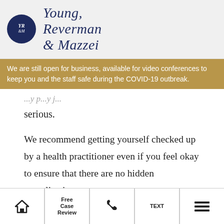[Figure (logo): Young, Reverman & Mazzei law firm logo with dark navy oval containing YR&M initials and serif italic firm name text]
We are still open for business, available for video conferences to keep you and the staff safe during the COVID-19 outbreak.
serious.
We recommend getting yourself checked up by a health practitioner even if you feel okay to ensure that there are no hidden complications.
Take Photos Of The
Home | Free Case Review | Phone | TEXT | Menu